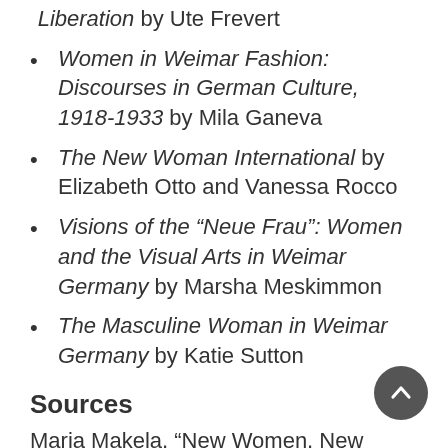Liberation by Ute Frevert
Women in Weimar Fashion: Discourses in German Culture, 1918-1933 by Mila Ganeva
The New Woman International by Elizabeth Otto and Vanessa Rocco
Visions of the “Neue Frau”: Women and the Visual Arts in Weimar Germany by Marsha Meskimmon
The Masculine Woman in Weimar Germany by Katie Sutton
Sources
Maria Makela, “New Women, New Men, New Objectivity” in New Objectivity: